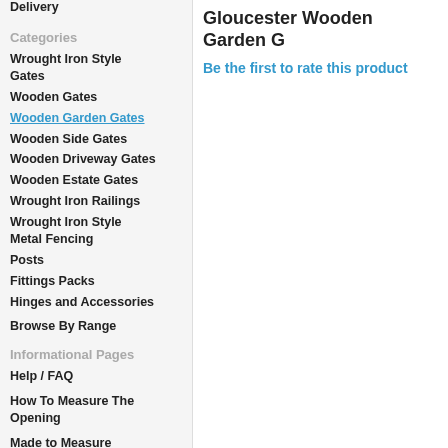Delivery
Categories
Wrought Iron Style Gates
Wooden Gates
Wooden Garden Gates
Wooden Side Gates
Wooden Driveway Gates
Wooden Estate Gates
Wrought Iron Railings
Wrought Iron Style Metal Fencing
Posts
Fittings Packs
Hinges and Accessories
Browse By Range
Informational Pages
Help / FAQ
How To Measure The Opening
Made to Measure Service
Customer Testimonials
Gloucester Wooden Garden G
Be the first to rate this product